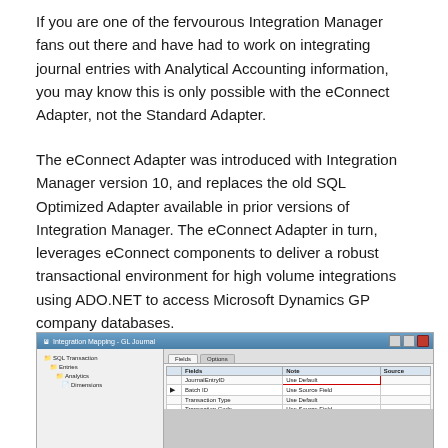If you are one of the fervourous Integration Manager fans out there and have had to work on integrating journal entries with Analytical Accounting information, you may know this is only possible with the eConnect Adapter, not the Standard Adapter.
The eConnect Adapter was introduced with Integration Manager version 10, and replaces the old SQL Optimized Adapter available in prior versions of Integration Manager. The eConnect Adapter in turn, leverages eConnect components to deliver a robust transactional environment for high volume integrations using ADO.NET to access Microsoft Dynamics GP company databases.
[Figure (screenshot): Screenshot of Integration Mapping - GL Journal window showing a tree on the left with SQL Transaction > Entries > Analytics > Dimensions, and a table on the right with Fields and Options tabs showing fields like JournalEntryID (highlighted with red border around 'Use Default'), Batch ID, Transaction Type, Transaction Code, Reasoning Data, Source Document, Reference, Note. Bottom panel shows a mini table with Name/Value columns listing Transaction, Source Fund, Copy Dimensions, Less to Values.]